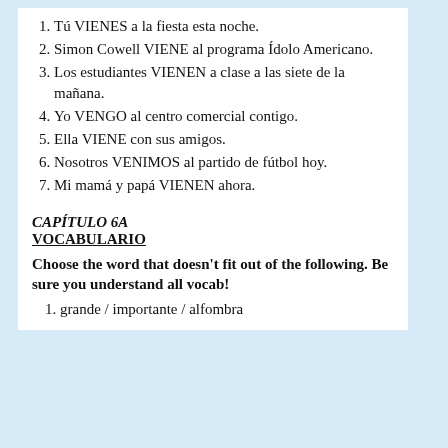1. Tú VIENES a la fiesta esta noche.
2. Simon Cowell VIENE al programa Ídolo Americano.
3. Los estudiantes VIENEN a clase a las siete de la mañana.
4. Yo VENGO al centro comercial contigo.
5. Ella VIENE con sus amigos.
6. Nosotros VENIMOS al partido de fútbol hoy.
7. Mi mamá y papá VIENEN ahora.
CAPÍTULO 6A
VOCABULARIO
Choose the word that doesn't fit out of the following. Be sure you understand all vocab!
1. grande / importante / alfombra